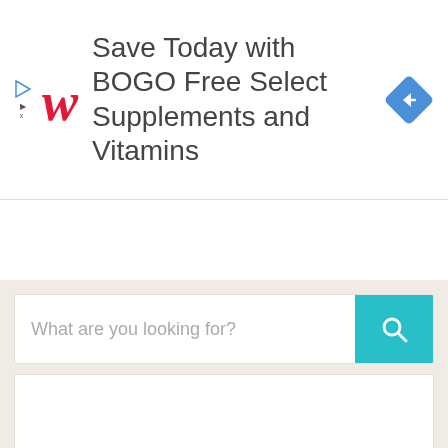[Figure (screenshot): Walgreens advertisement banner: 'Save Today with BOGO Free Select Supplements and Vitamins' with Walgreens cursive W logo in red and a blue diamond navigation icon on the right. Small play/close icons on the far left.]
Save Today with BOGO Free Select Supplements and Vitamins
[Figure (screenshot): Search interface with a search bar containing placeholder text 'What are you looking for?' and a teal/cyan search button with magnifying glass icon. Below is a white results panel. Above the search area is a collapse tab with an up-arrow caret.]